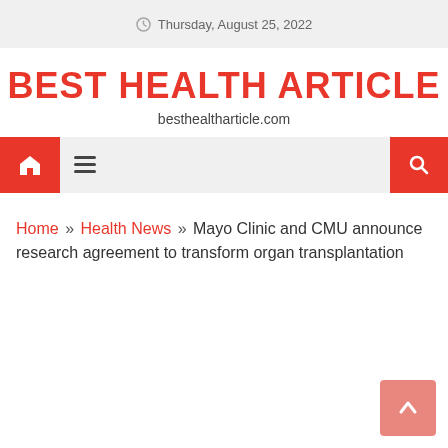Thursday, August 25, 2022
BEST HEALTH ARTICLE
besthealtharticle.com
[Figure (screenshot): Navigation bar with home icon, hamburger menu, and search icon on red/grey background]
Home » Health News » Mayo Clinic and CMU announce research agreement to transform organ transplantation